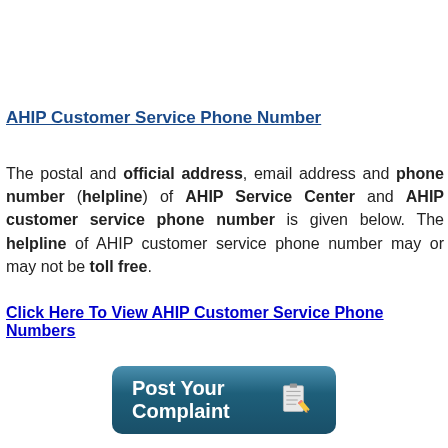AHIP Customer Service Phone Number
The postal and official address, email address and phone number (helpline) of AHIP Service Center and AHIP customer service phone number is given below. The helpline of AHIP customer service phone number may or may not be toll free.
Click Here To View AHIP Customer Service Phone Numbers
[Figure (illustration): A rounded rectangular button with a dark teal/blue gradient background, displaying the text 'Post Your Complaint' in white bold font, with a notepad and pencil icon on the right side.]